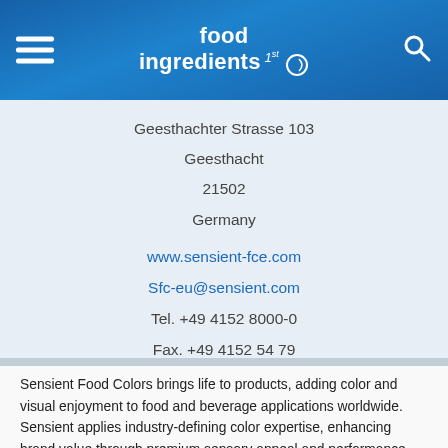food ingredients 1st
Geesthachter Strasse 103
Geesthacht
21502
Germany
www.sensient-fce.com
Sfc-eu@sensient.com
Tel.  +49 4152 8000-0
Fax.  +49 4152 54 79
ACTIVE CATEGORIES
Colors - Natural
Sensient Food Colors brings life to products, adding color and visual enjoyment to food and beverage applications worldwide. Sensient applies industry-defining color expertise, enhancing brand value through premium sensory appeal and performance. Sensient Food Colors Europe supplies an encompassing portfolio